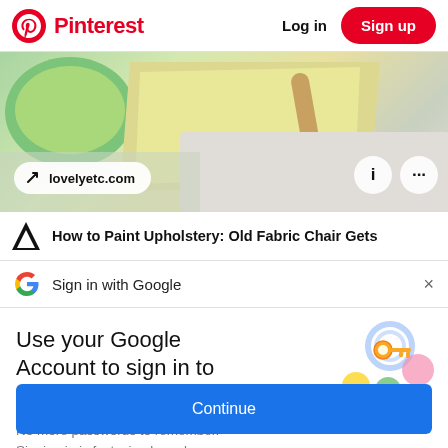Pinterest  Log in  Sign up
[Figure (screenshot): Partial image of baking/craft supplies including green bowl, yellow cloth, and rolling pin with lovelyetc.com badge overlay]
How to Paint Upholstery: Old Fabric Chair Gets
Sign in with Google
Use your Google Account to sign in to Pinterest
No more passwords to remember. Signing in is fast, simple and secure.
[Figure (illustration): Google sign-in key illustration with colorful circles and a golden key]
Continue